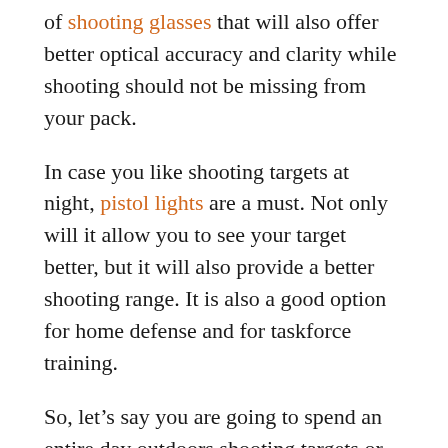of shooting glasses that will also offer better optical accuracy and clarity while shooting should not be missing from your pack.
In case you like shooting targets at night, pistol lights are a must. Not only will it allow you to see your target better, but it will also provide a better shooting range. It is also a good option for home defense and for taskforce training.
So, let’s say you are going to spend an entire day outdoors shooting targets or hunting. The pockets from your vest and pants are great for keeping and fast-accessing small tools and essentials, but they are not enough.